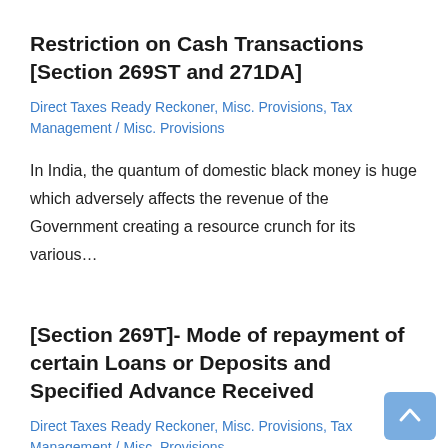Restriction on Cash Transactions [Section 269ST and 271DA]
Direct Taxes Ready Reckoner, Misc. Provisions, Tax Management / Misc. Provisions
In India, the quantum of domestic black money is huge which adversely affects the revenue of the Government creating a resource crunch for its various…
[Section 269T]- Mode of repayment of certain Loans or Deposits and Specified Advance Received
Direct Taxes Ready Reckoner, Misc. Provisions, Tax Management / Misc. Provisions
(a)    No branch of a banking company or a co-operative